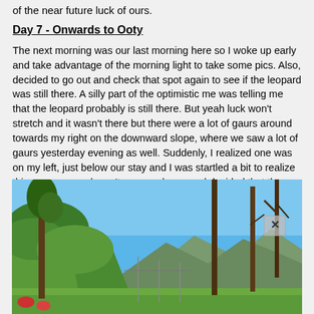of the near future luck of ours.
Day 7 - Onwards to Ooty
The next morning was our last morning here so I woke up early and take advantage of the morning light to take some pics. Also, decided to go out and check that spot again to see if the leopard was still there. A silly part of the optimistic me was telling me that the leopard probably is still there. But yeah luck won't stretch and it wasn't there but there were a lot of gaurs around towards my right on the downward slope, where we saw a lot of gaurs yesterday evening as well. Suddenly, I realized one was on my left, just below our stay and I was startled a bit to realize this one was so close. It gave a glance and decided that the scrawny creature wasn't harmful and went about munching, after that short disturbance I caused.
[Figure (photo): Outdoor landscape photo showing tall trees against a bright blue sky, with lush green hillside vegetation and a mountain range visible in the background. A close button (X) is visible in the upper right area of the image.]